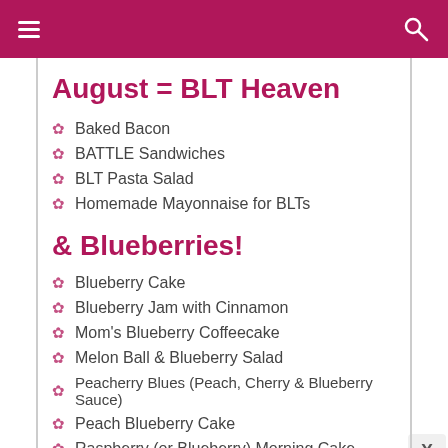August = BLT Heaven
Baked Bacon
BATTLE Sandwiches
BLT Pasta Salad
Homemade Mayonnaise for BLTs
& Blueberries!
Blueberry Cake
Blueberry Jam with Cinnamon
Mom's Blueberry Coffeecake
Melon Ball & Blueberry Salad
Peacherry Blues (Peach, Cherry & Blueberry Sauce)
Peach Blueberry Cake
Raspberry (or Blueberry) Morning Cake